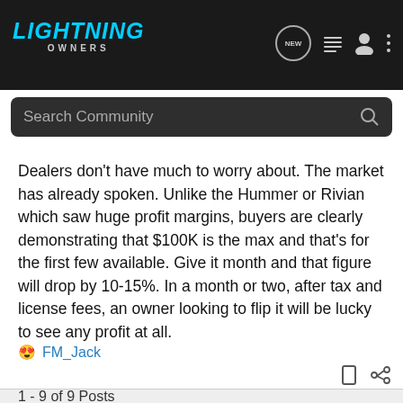[Figure (screenshot): Lightning Owners community forum header with logo, search bar, and navigation icons on dark background]
Dealers don't have much to worry about. The market has already spoken. Unlike the Hummer or Rivian which saw huge profit margins, buyers are clearly demonstrating that $100K is the max and that's for the first few available. Give it month and that figure will drop by 10-15%. In a month or two, after tax and license fees, an owner looking to flip it will be lucky to see any profit at all.
😍 FM_Jack
1 - 9 of 9 Posts